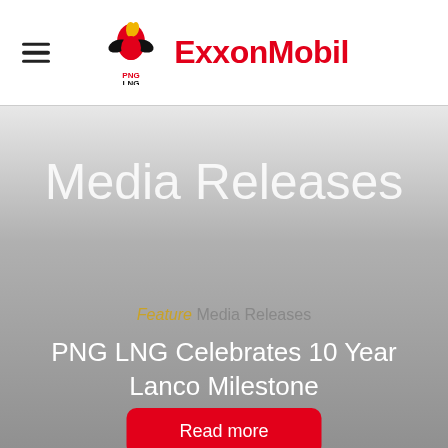PNG LNG | ExxonMobil
Media Releases
Feature Media Releases
PNG LNG Celebrates 10 Year Lanco Milestone
Read more